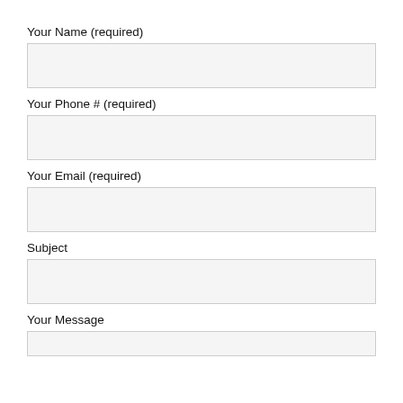Your Name (required)
Your Phone # (required)
Your Email (required)
Subject
Your Message